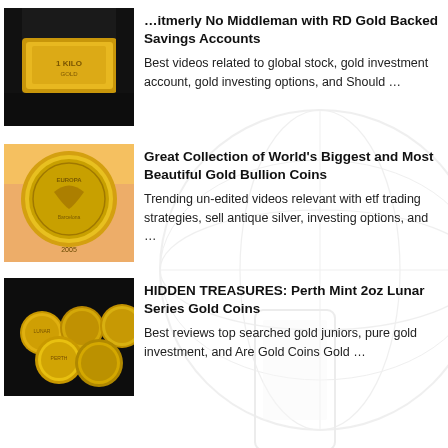[Figure (photo): Gold bar under dark lighting, first list item thumbnail]
Backed Savings Accounts
Best videos related to global stock, gold investment account, gold investing options, and Should …
[Figure (photo): Large gold bullion coin held up, showing European coin design, second list item thumbnail]
Great Collection of World's Biggest and Most Beautiful Gold Bullion Coins
Trending un-edited videos relevant with etf trading strategies, sell antique silver, investing options, and …
[Figure (photo): Multiple gold coins on dark background, Lunar Series coins, third list item thumbnail]
HIDDEN TREASURES: Perth Mint 2oz Lunar Series Gold Coins
Best reviews top searched gold juniors, pure gold investment, and Are Gold Coins Gold …